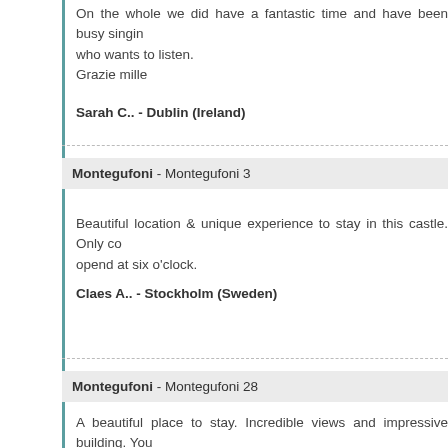On the whole we did have a fantastic time and have been busy singing its praises to anyone who wants to listen.
Grazie mille
Sarah C.. - Dublin (Ireland)
Montegufoni - Montegufoni 3
Beautiful location & unique experience to stay in this castle. Only co... opend at six o'clock.
Claes A.. - Stockholm (Sweden)
Montegufoni - Montegufoni 28
A beautiful place to stay. Incredible views and impressive building. You... sure you can make the most of being in the beautiful Tuscan countryside...
Georgina F.. - England (United Kingdom)